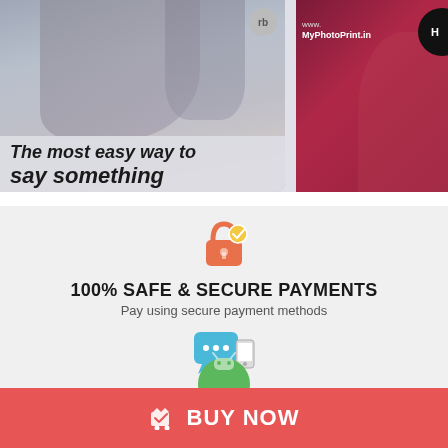[Figure (photo): Top banner showing two cropped images side by side: left image shows people with text overlay 'The most easy way to say something', right image shows a red/maroon background with www.MyPhotoPrint.in text]
[Figure (infographic): Lock icon with checkmark - safe & secure payments icon]
100% SAFE & SECURE PAYMENTS
Pay using secure payment methods
[Figure (infographic): Chat bubble with phone icon - dedicated help center icon]
DEDICATED HELP CENTER
Call us +918069201186 10:30 AM to 6:30 PM
[Figure (infographic): Partial green Android icon visible at bottom]
BUY NOW